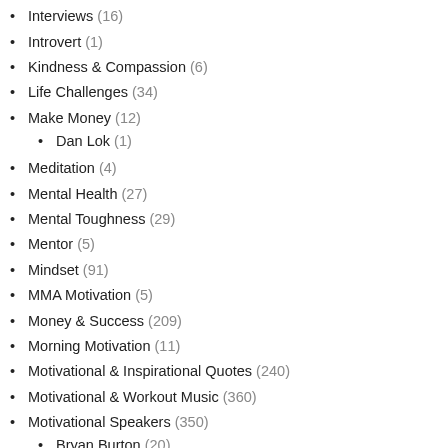Interviews (16)
Introvert (1)
Kindness & Compassion (6)
Life Challenges (34)
Make Money (12)
Dan Lok (1)
Meditation (4)
Mental Health (27)
Mental Toughness (29)
Mentor (5)
Mindset (91)
MMA Motivation (5)
Money & Success (209)
Morning Motivation (11)
Motivational & Inspirational Quotes (240)
Motivational & Workout Music (360)
Motivational Speakers (350)
Bryan Burton (20)
Chris Ross (151)
David Goggins (6)
Eric Thomas (7)
Evan Carmichael (1)